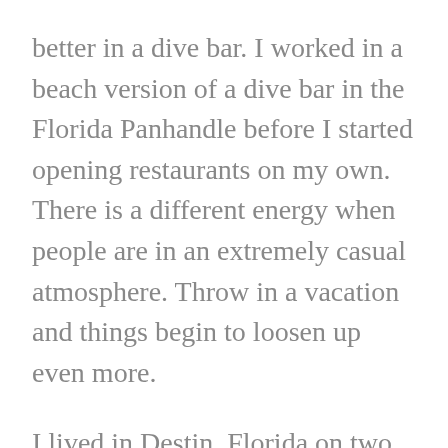better in a dive bar. I worked in a beach version of a dive bar in the Florida Panhandle before I started opening restaurants on my own. There is a different energy when people are in an extremely casual atmosphere. Throw in a vacation and things begin to loosen up even more.
I lived in Destin, Florida on two separate occasions. Both stretches covered the relaxed off-season and the busy tourist season in full swing. Prices changed in the off-season so business could be sustained by locals and a